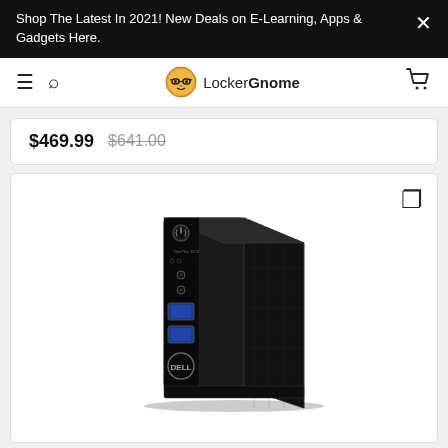Shop The Latest In 2021! New Deals on E-Learning, Apps & Gadgets Here. ×
LockerGnome
$469.99  $641.00
[Figure (photo): Dell OptiPlex mini desktop PC in black, angled front view showing USB ports, audio jacks, power button, and Dell logo]